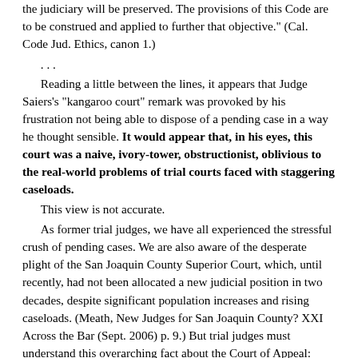the judiciary will be preserved. The provisions of this Code are to be construed and applied to further that objective." (Cal. Code Jud. Ethics, canon 1.)
. . .
Reading a little between the lines, it appears that Judge Saiers's "kangaroo court" remark was provoked by his frustration not being able to dispose of a pending case in a way he thought sensible. It would appear that, in his eyes, this court was a naive, ivory-tower, obstructionist, oblivious to the real-world problems of trial courts faced with staggering caseloads.
This view is not accurate.
As former trial judges, we have all experienced the stressful crush of pending cases. We are also aware of the desperate plight of the San Joaquin County Superior Court, which, until recently, had not been allocated a new judicial position in two decades, despite significant population increases and rising caseloads. (Meath, New Judges for San Joaquin County? XXI Across the Bar (Sept. 2006) p. 9.) But trial judges must understand this overarching fact about the Court of Appeal: despite our awareness of and sympathy for your plight, we have no warrant to disregard the law. Rather, we have all taken an